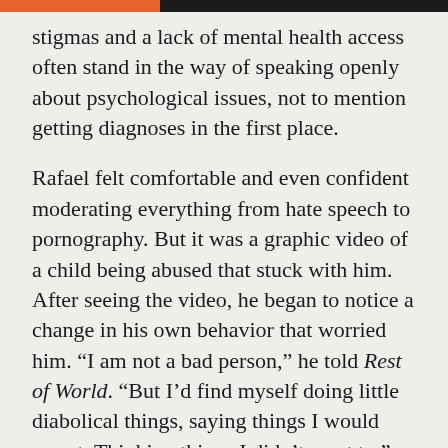stigmas and a lack of mental health access often stand in the way of speaking openly about psychological issues, not to mention getting diagnoses in the first place.
Rafael felt comfortable and even confident moderating everything from hate speech to pornography. But it was a graphic video of a child being abused that stuck with him. After seeing the video, he began to notice a change in his own behavior that worried him. “I am not a bad person,” he told Rest of World. “But I’d find myself doing little diabolical things, saying things I would regret. Thinking things I didn’t want to.”